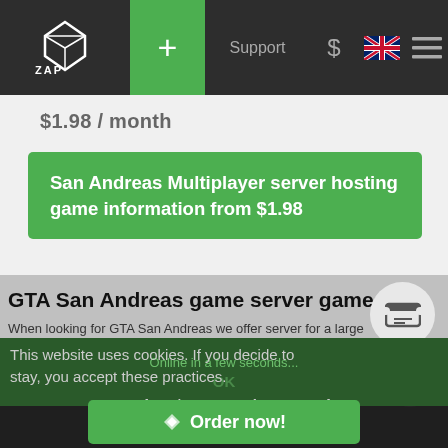ZAP Hosting navigation bar with logo, +, Support, $, UK flag, menu
$1.98 / month
San Andreas Multiplayer server hosting game information from $1.98
GTA San Andreas game server games
When looking for GTA San Andreas we offer server for a large
This website uses cookies. If you decide to stay, you accept these practices.
Only $1.98 / month
Online in a few seconds...
OK
Order now!